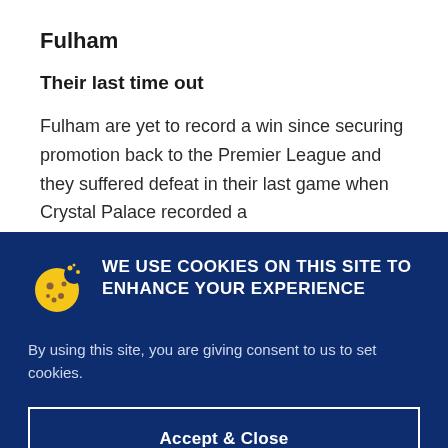Fulham
Their last time out
Fulham are yet to record a win since securing promotion back to the Premier League and they suffered defeat in their last game when Crystal Palace recorded a
WE USE COOKIES ON THIS SITE TO ENHANCE YOUR EXPERIENCE
By using this site, you are giving consent to us to set cookies.
Accept & Close